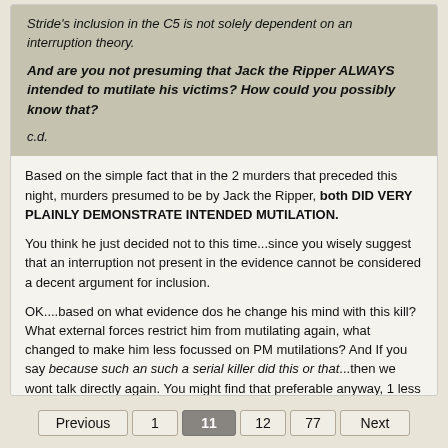Stride's inclusion in the C5 is not solely dependent on an interruption theory.
And are you not presuming that Jack the Ripper ALWAYS intended to mutilate his victims? How could you possibly know that?
c.d.
Based on the simple fact that in the 2 murders that preceded this night, murders presumed to be by Jack the Ripper, both DID VERY PLAINLY DEMONSTRATE INTENDED MUTILATION.
You think he just decided not to this time...since you wisely suggest that an interruption not present in the evidence cannot be considered a decent argument for inclusion.
OK....based on what evidence dos he change his mind with this kill? What external forces restrict him from mutilating again, what changed to make him less focussed on PM mutilations? And If you say because such an such a serial killer did this or that...then we wont talk directly again. You might find that preferable anyway, 1 less person disputing your personal opinion submitted as evidence.
Previous   1   11   12   77   Next